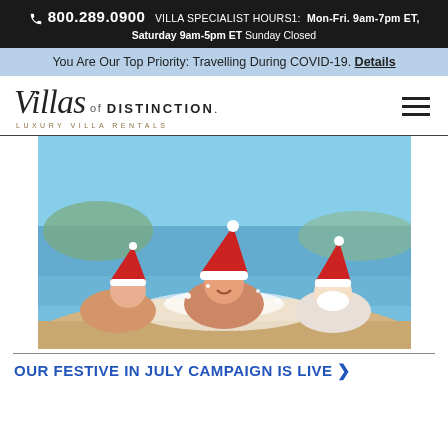800.289.0900  VILLA SPECIALIST HOURS1:  Mon-Fri. 9am-7pm ET, Saturday 9am-5pm ET Sunday Closed
You Are Our Top Priority: Travelling During COVID-19. Details
[Figure (logo): Villas of Distinction Luxury Villa Rentals logo in italic serif font with hamburger menu icon]
[Figure (photo): Three children wearing Santa hats playing in the surf on a sunny beach, smiling and splashing in the waves]
OUR FESTIVE IN JULY CAMPAIGN IS LIVE >